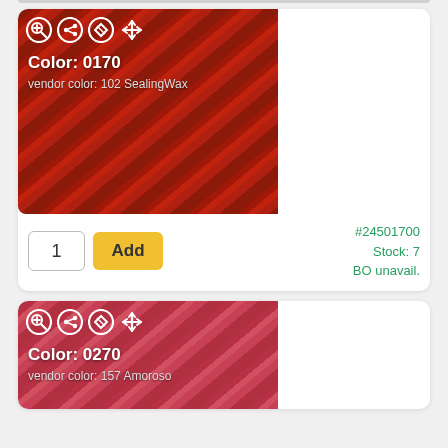[Figure (photo): Product card for yarn Color 0170, vendor color 102 SealingWax. Shows close-up of deep red twisted yarn texture with icons and labels overlaid. Includes quantity input, Add button, item number #24501700, Stock: 7, BO unavail.]
[Figure (photo): Product card for yarn Color 0270, vendor color 157 Amoroso. Shows close-up of rose-red twisted yarn texture with icons and labels overlaid. Partially visible at bottom of page.]